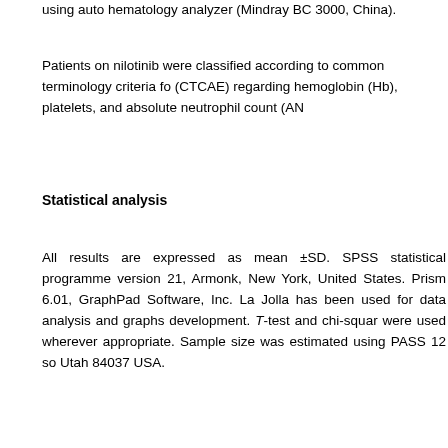using auto hematology analyzer (Mindray BC 3000, China).
Patients on nilotinib were classified according to common terminology criteria for (CTCAE) regarding hemoglobin (Hb), platelets, and absolute neutrophil count (AN...
Statistical analysis
All results are expressed as mean ±SD. SPSS statistical programme version 21, Armonk, New York, United States. Prism 6.01, GraphPad Software, Inc. La Jolla has been used for data analysis and graphs development. T-test and chi-square were used wherever appropriate. Sample size was estimated using PASS 12 so Utah 84037 USA.
th mean age mean was 5 0⁹/L, 12.5 g
Regarding the thyroid function test, both T3 and T4 overall means were within t (96.1, 7.4), respectively. Furthermore, the minimum and the maximum values...
[Figure (other): Cookie consent overlay banner with text: 'This website uses cookies. By continuing to use this website you are giving consent to cookies being used. For information on cookies and how you can disable them visit our Privacy and Cookie Policy.' with an AGREE & PROCEED button.]